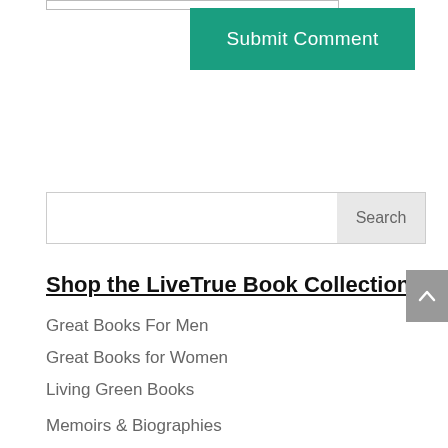[Figure (screenshot): A teal/green 'Submit Comment' button]
[Figure (screenshot): A search bar with a text input field and a 'Search' button]
Shop the LiveTrue Book Collection
Great Books For Men
Great Books for Women
Living Green Books
Memoirs & Biographies